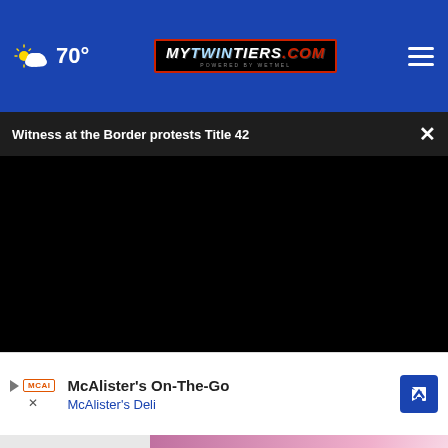70° | MyTwinTiers.com
Witness at the Border protests Title 42
[Figure (screenshot): Black video player area — video not loaded, showing black screen with playback controls: play button, mute button, 00:00 timestamp, fullscreen button, and a scrubber at 0%]
[Figure (photo): Partial thumbnail of a person on a colorful pink/white stage with arms raised]
McAlister's On-The-Go
McAlister's Deli